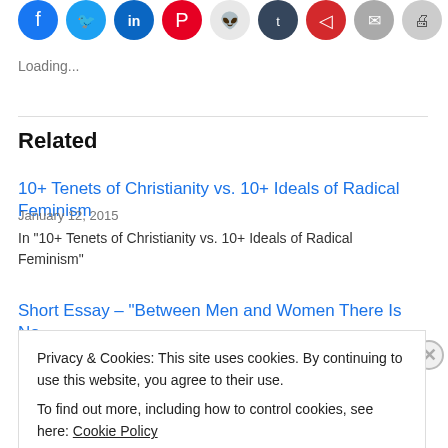[Figure (other): Row of social media sharing icon circles: Facebook (blue), Twitter (blue), LinkedIn (blue), Pinterest (red), Reddit (light gray), Tumblr (dark navy), Pocket (red), Email (gray), Print (gray)]
Loading...
Related
10+ Tenets of Christianity vs. 10+ Ideals of Radical Feminism
January 12, 2015
In "10+ Tenets of Christianity vs. 10+ Ideals of Radical Feminism"
Short Essay – “Between Men and Women There Is No
Privacy & Cookies: This site uses cookies. By continuing to use this website, you agree to their use.
To find out more, including how to control cookies, see here: Cookie Policy
Close and accept